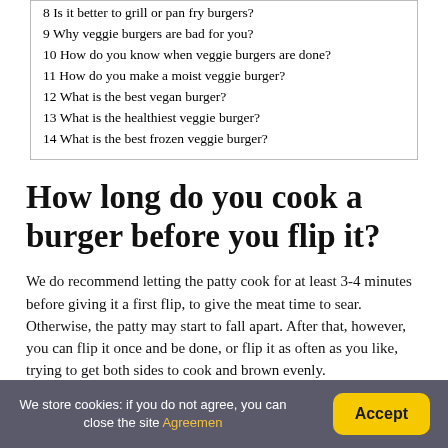8 Is it better to grill or pan fry burgers?
9 Why veggie burgers are bad for you?
10 How do you know when veggie burgers are done?
11 How do you make a moist veggie burger?
12 What is the best vegan burger?
13 What is the healthiest veggie burger?
14 What is the best frozen veggie burger?
How long do you cook a burger before you flip it?
We do recommend letting the patty cook for at least 3-4 minutes before giving it a first flip, to give the meat time to sear. Otherwise, the patty may start to fall apart. After that, however, you can flip it once and be done, or flip it as often as you like, trying to get both sides to cook and brown evenly.
We store cookies: if you do not agree, you can close the site Agreemen